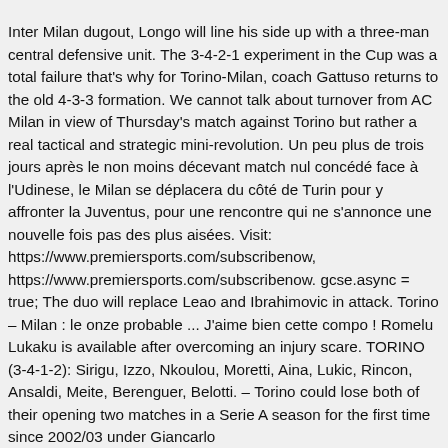Inter Milan dugout, Longo will line his side up with a three-man central defensive unit. The 3-4-2-1 experiment in the Cup was a total failure that's why for Torino-Milan, coach Gattuso returns to the old 4-3-3 formation. We cannot talk about turnover from AC Milan in view of Thursday's match against Torino but rather a real tactical and strategic mini-revolution. Un peu plus de trois jours après le non moins décevant match nul concédé face à l'Udinese, le Milan se déplacera du côté de Turin pour y affronter la Juventus, pour une rencontre qui ne s'annonce une nouvelle fois pas des plus aisées. Visit: https://www.premiersports.com/subscribenow, https://www.premiersports.com/subscribenow. gcse.async = true; The duo will replace Leao and Ibrahimovic in attack. Torino – Milan : le onze probable ... J'aime bien cette compo ! Romelu Lukaku is available after overcoming an injury scare. TORINO (3-4-1-2): Sirigu, Izzo, Nkoulou, Moretti, Aina, Lukic, Rincon, Ansaldi, Meite, Berenguer, Belotti. – Torino could lose both of their opening two matches in a Serie A season for the first time since 2002/03 under Giancarlo